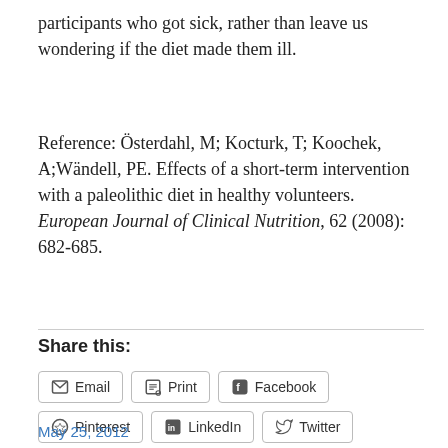participants who got sick, rather than leave us wondering if the diet made them ill.
Reference: Österdahl, M; Kocturk, T; Koochek, A;Wändell, PE. Effects of a short-term intervention with a paleolithic diet in healthy volunteers. European Journal of Clinical Nutrition, 62 (2008): 682-685.
Share this:
Email  Print  Facebook  Pinterest  LinkedIn  Twitter  Reddit  Tumblr
May 25, 2012